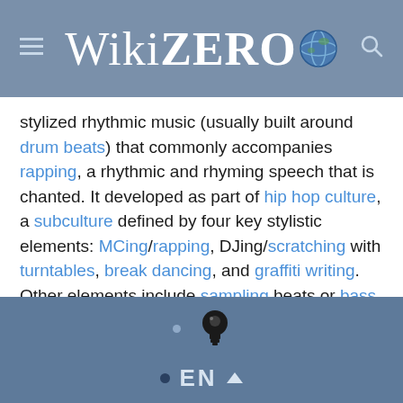WikiZero
stylized rhythmic music (usually built around drum beats) that commonly accompanies rapping, a rhythmic and rhyming speech that is chanted. It developed as part of hip hop culture, a subculture defined by four key stylistic elements: MCing/rapping, DJing/scratching with turntables, break dancing, and graffiti writing. Other elements include sampling beats or bass lines from records (or synthesized beats and sounds), and rhythmic beatboxing. While often used to refer solely to rapping, "hip hop" more properly denotes the practice of the entire subculture. The term hip hop music is sometimes used synonymously with the term rap music, though rapping is not a required component of hip hop
EN